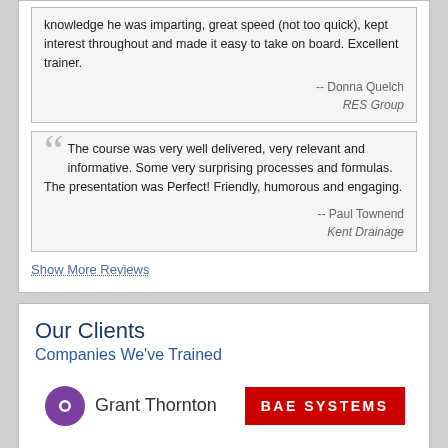knowledge he was imparting, great speed (not too quick), kept interest throughout and made it easy to take on board. Excellent trainer.
-- Donna Quelch
RES Group
The course was very well delivered, very relevant and informative. Some very surprising processes and formulas. The presentation was Perfect! Friendly, humorous and engaging.
-- Paul Townend
Kent Drainage
Show More Reviews
Our Clients
Companies We've Trained
[Figure (logo): Grant Thornton logo with purple circle and dot icon]
[Figure (logo): BAE SYSTEMS logo in white bold text on red background]